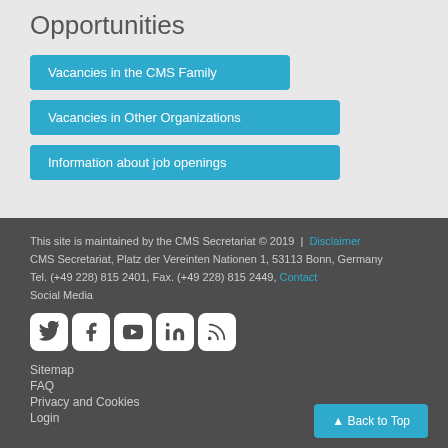Opportunities
Vacancies in the CMS Family
Vacancies in Other Organizations
Information about job openings
This site is maintained by the CMS Secretariat © 2019  |  Disclaimer CMS Secretariat, Platz der Vereinten Nationen 1, 53113 Bonn, Germany Tel. (+49 228) 815 2401, Fax. (+49 228) 815 2449,  Contact Social Media
Sitemap
FAQ
Privacy and Cookies
Login